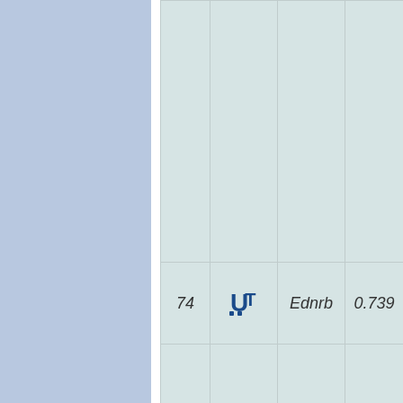[Figure (other): Left blue panel — decorative sidebar background]
|  |  |  |  |
| 74 | [UT icon] | Ednrb | 0.739 |
|  |  |  |  |